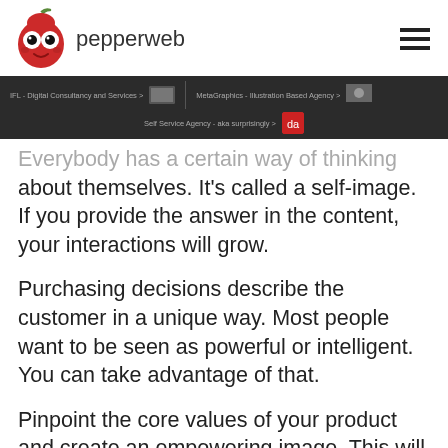[Figure (logo): Pepperweb logo: red pepper character with googly eyes next to the text 'pepperweb']
[Figure (screenshot): Dark navigation bar with links: 'IFL - Digital Consultancy and Services', 'MetaGraphics - Illustration Based Agency', 'Self Service Agency - aka surprisingly', with small icon thumbnails]
Everybody has a certain way of thinking about themselves. It's called a self-image. If you provide the answer in the content, your interactions will grow.
Purchasing decisions describe the customer in a unique way. Most people want to be seen as powerful or intelligent. You can take advantage of that.
Pinpoint the core values of your product and create an empowering image. This will speak